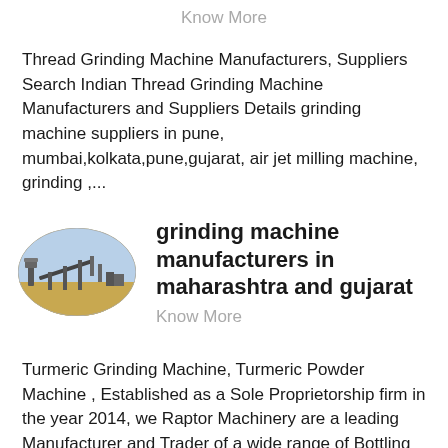Know More
Thread Grinding Machine Manufacturers, Suppliers Search Indian Thread Grinding Machine Manufacturers and Suppliers Details grinding machine suppliers in pune, mumbai,kolkata,pune,gujarat, air jet milling machine, grinding ,...
[Figure (photo): Oval-shaped image of machinery / grinding equipment outdoors]
grinding machine manufacturers in maharashtra and gujarat
Know More
Turmeric Grinding Machine, Turmeric Powder Machine , Established as a Sole Proprietorship firm in the year 2014, we Raptor Machinery are a leading Manufacturer and Trader of a wide range of Bottling Machine, Vibro Shifter, Grinding Hammer Mill, Pellet Mill, etc Situated in Ahmedabad Gujarat, India , we have constructed a